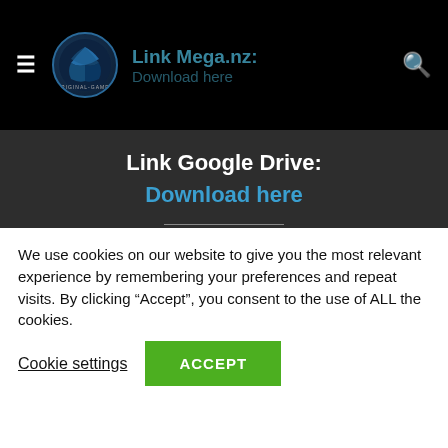Link Mega.nz: [title text]
Link Google Drive:
Download here
Installation Guide:
1. Download/Extract/Install
We use cookies on our website to give you the most relevant experience by remembering your preferences and repeat visits. By clicking “Accept”, you consent to the use of ALL the cookies.
Cookie settings  ACCEPT